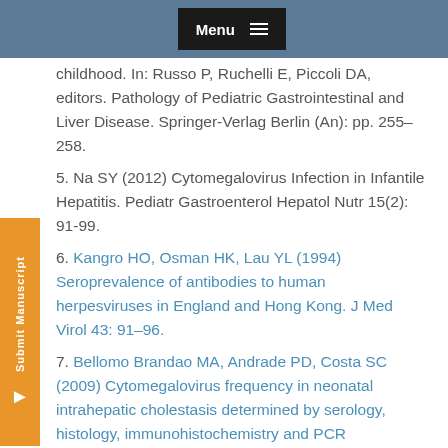Menu
4. Ruchelli E, Band EB, Haber BA (2018) liver failure in infancy and childhood. In: Russo P, Ruchelli E, Piccoli DA, editors. Pathology of Pediatric Gastrointestinal and Liver Disease. Springer-Verlag Berlin (An): pp. 255–258.
5. Na SY (2012) Cytomegalovirus Infection in Infantile Hepatitis. Pediatr Gastroenterol Hepatol Nutr 15(2): 91-99.
6. Kangro HO, Osman HK, Lau YL (1994) Seroprevalence of antibodies to human herpesviruses in England and Hong Kong. J Med Virol 43: 91–96.
7. Bellomo Brandao MA, Andrade PD, Costa SC (2009) Cytomegalovirus frequency in neonatal intrahepatic cholestasis determined by serology, histology, immunohistochemistry and PCR